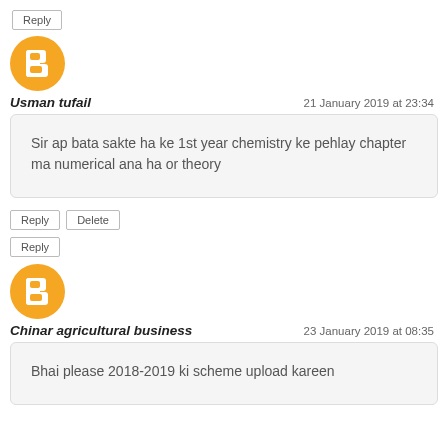Reply (button)
[Figure (illustration): Blogger avatar icon — orange circle with white blogger 'B' logo]
Usman tufail — 21 January 2019 at 23:34
Sir ap bata sakte ha ke 1st year chemistry ke pehlay chapter ma numerical ana ha or theory
Reply | Delete buttons, Reply button
[Figure (illustration): Blogger avatar icon — orange circle with white blogger 'B' logo]
Chinar agricultural business — 23 January 2019 at 08:35
Bhai please 2018-2019 ki scheme upload kareen